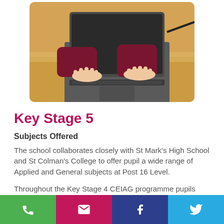[Figure (photo): A student in a dark red/maroon school uniform typing on a laptop on a wooden desk, photo with rounded corners.]
Key Stage 5
Subjects Offered
The school collaborates closely with St Mark's High School and St Colman's College to offer pupil a wide range of Applied and General subjects at Post 16 Level.
Throughout the Key Stage 4 CEIAG programme pupils receive advice and support to help them to make informed